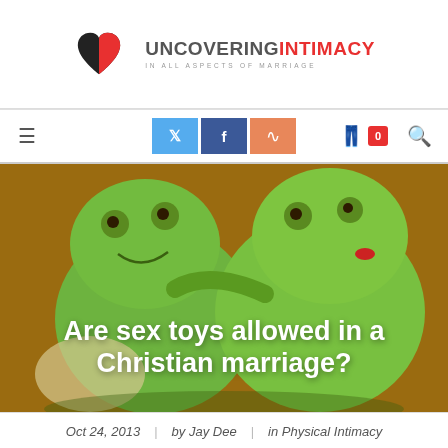[Figure (logo): Uncovering Intimacy logo: black and red heart icon with text UNCOVERING INTIMACY IN ALL ASPECTS OF MARRIAGE]
UNCOVERING INTIMACY | IN ALL ASPECTS OF MARRIAGE | Navigation bar with Twitter, Facebook, RSS social buttons, cart icon with badge 0, and search icon
[Figure (photo): Two green frog plush toys hugging each other against an orange-brown background]
Are sex toys allowed in a Christian marriage?
Oct 24, 2013  |  by Jay Dee  |  in Physical Intimacy
SexWithinMarriage.com